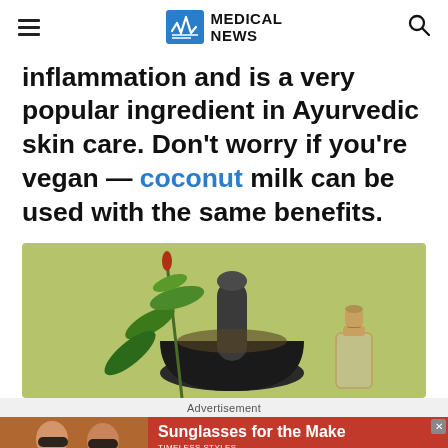MEDICAL NEWS
inflammation and is a very popular ingredient in Ayurvedic skin care. Don't worry if you're vegan — coconut milk can be used with the same benefits.
[Figure (photo): Photo of a mortar and pestle with green plant and small glass bottle on a green background, representing Ayurvedic/herbal ingredients.]
Advertisement
[Figure (screenshot): Advertisement banner for sunglasses: 'Sunglasses for the Make' with two women wearing sunglasses, 'TIMELESS STYLES. UNMATCHED QUALITY' and a 'SHOP NOW' button.]